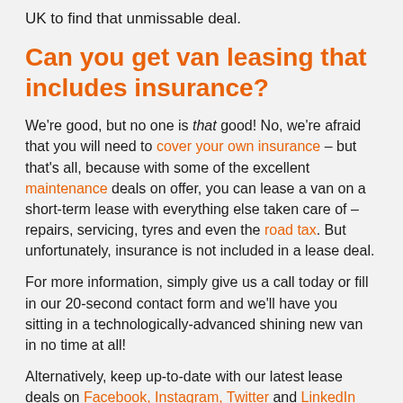UK to find that unmissable deal.
Can you get van leasing that includes insurance?
We're good, but no one is that good! No, we're afraid that you will need to cover your own insurance – but that's all, because with some of the excellent maintenance deals on offer, you can lease a van on a short-term lease with everything else taken care of – repairs, servicing, tyres and even the road tax. But unfortunately, insurance is not included in a lease deal.
For more information, simply give us a call today or fill in our 20-second contact form and we'll have you sitting in a technologically-advanced shining new van in no time at all!
Alternatively, keep up-to-date with our latest lease deals on Facebook, Instagram, Twitter and LinkedIn